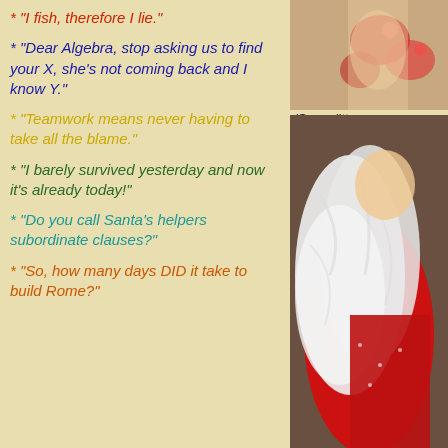* "I fish, therefore I lie."
* "Dear Algebra, stop asking us to find your X, she's not coming back and I know Y."
* "Teamwork means never having to take all the blame."
* "I barely survived yesterday and now it's already today!"
* "Do you call Santa's helpers subordinate clauses?"
* "So, how many days DID it take to build Rome?"
[Figure (photo): Partial photo at top right, person in red/floral clothing]
(Some litt
[Figure (photo): Person dressed in red with white feather boa]